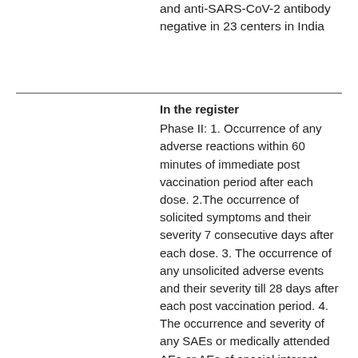and anti-SARS-CoV-2 antibody negative in 23 centers in India
In the register
Phase II: 1. Occurrence of any adverse reactions within 60 minutes of immediate post vaccination period after each dose. 2.The occurrence of solicited symptoms and their severity 7 consecutive days after each dose. 3. The occurrence of any unsolicited adverse events and their severity till 28 days after each post vaccination period. 4. The occurrence and severity of any SAEs or medically attended AEs or AEs of special interest (AESIs) 28 days after each dose. Phase III: 1. Immune response in terms of geometric mean